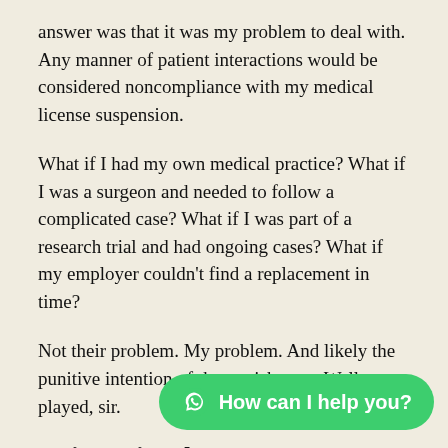answer was that it was my problem to deal with. Any manner of patient interactions would be considered noncompliance with my medical license suspension.
What if I had my own medical practice? What if I was a surgeon and needed to follow a complicated case? What if I was part of a research trial and had ongoing cases? What if my employer couldn't find a replacement in time?
Not their problem. My problem. And likely the punitive intention of the punishment. Well-played, sir.
Unintentional Consequences
I really don't think that the medical board meant to be this punitive – or maybe they did – but I do think they are in the business of protecting patients from rogue